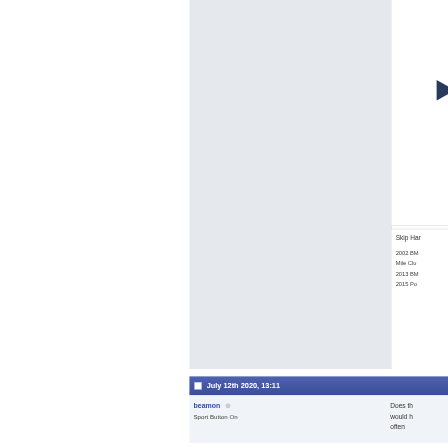[Figure (screenshot): Forum page screenshot showing a user profile sidebar with name 'Skip Har...' and vehicle info '2002 BM..., Mile Clu..., 2013 BM..., 2015 Po...' next to a large gray avatar area, a post timestamp bar 'July 12th 2020, 13:11', and a post row with username 'beamon' and role 'Sport Button On' alongside partial post text 'Does th... would h... often...']